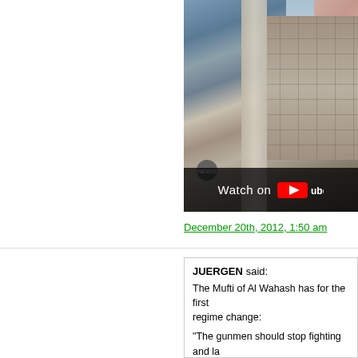[Figure (screenshot): YouTube video thumbnail showing an outdoor scene with a concrete column, a building in the background, and a partial view of a person. A 'Watch on YouTube' overlay bar is visible at the bottom. Partial text 'som' visible at bottom right.]
December 20th, 2012, 1:50 am
JUERGEN said: The Mufti of Al Wahash has for the first time called for regime change: "The gunmen should stop fighting and la... not coming through violence but through... [Arabic text]